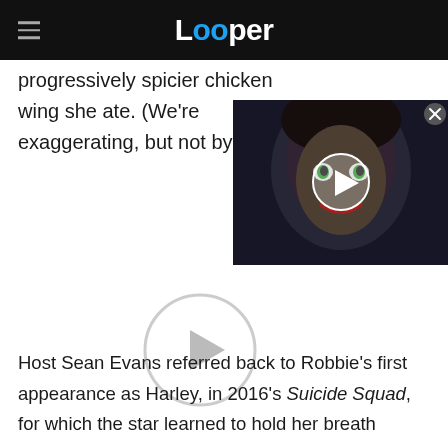Looper
progressively spicier chicken wing she ate. (We're exaggerating, but not by mu...
[Figure (screenshot): Video thumbnail showing a dark-toned character with a sinister expression, with a play button overlay. A close button (X) is visible at the top right.]
[Figure (other): Large circular play button outline with a triangle play icon inside, on a white background]
Host Sean Evans referred back to Robbie's first appearance as Harley, in 2016's Suicide Squad, for which the star learned to hold her breath